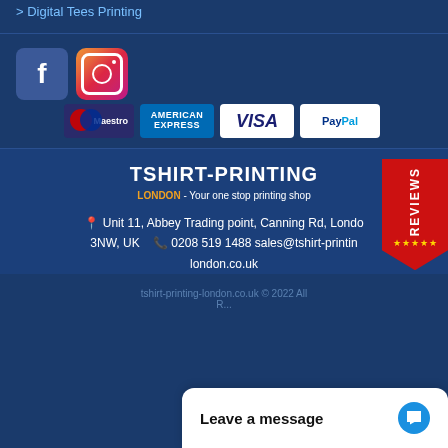Digital Tees Printing
[Figure (logo): Facebook icon - blue square with white f]
[Figure (logo): Instagram icon - colorful camera logo]
[Figure (logo): Payment methods: Maestro, American Express, Visa, PayPal]
[Figure (logo): TSHIRT-PRINTING LONDON - Your one stop printing shop brand logo]
Unit 11, Abbey Trading point, Canning Rd, London E13NW, UK  0208 519 1488 sales@tshirt-printing-london.co.uk
[Figure (other): Reviews badge with stars - red pennant shape]
tshirt-printing-london.co.uk © 2022 All R...
Leave a message